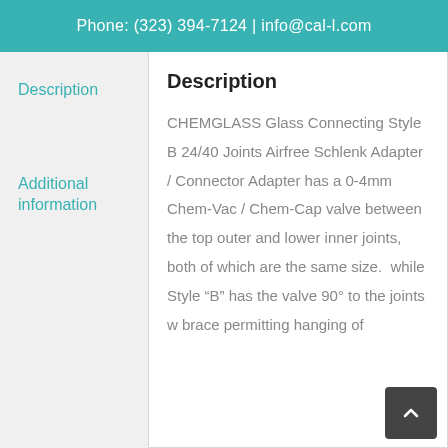Phone: (323) 394-7124 | info@cal-l.com
Description
Additional information
Description
CHEMGLASS Glass Connecting Style B 24/40 Joints Airfree Schlenk Adapter / Connector Adapter has a 0-4mm Chem-Vac / Chem-Cap valve between the top outer and lower inner joints, both of which are the same size.  while Style "B" has the valve 90° to the joints with a brace permitting hanging of